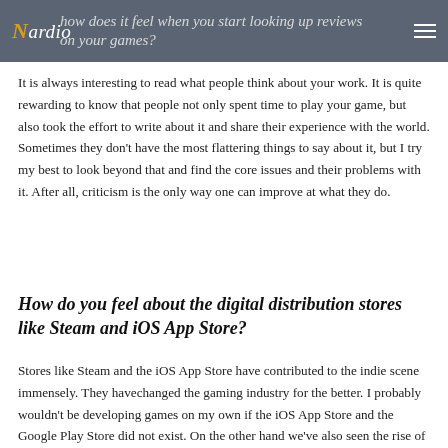Nardio — how does it feel when you start looking up reviews on your games?
It is always interesting to read what people think about your work. It is quite rewarding to know that people not only spent time to play your game, but also took the effort to write about it and share their experience with the world. Sometimes they don't have the most flattering things to say about it, but I try my best to look beyond that and find the core issues and their problems with it. After all, criticism is the only way one can improve at what they do.
How do you feel about the digital distribution stores like Steam and iOS App Store?
Stores like Steam and the iOS App Store have contributed to the indie scene immensely. They havechanged the gaming industry for the better. I probably wouldn't be developing games on my own if the iOS App Store and the Google Play Store did not exist. On the other hand we've also seen the rise of the notorious freemium model, so there will be some people who might disagree.